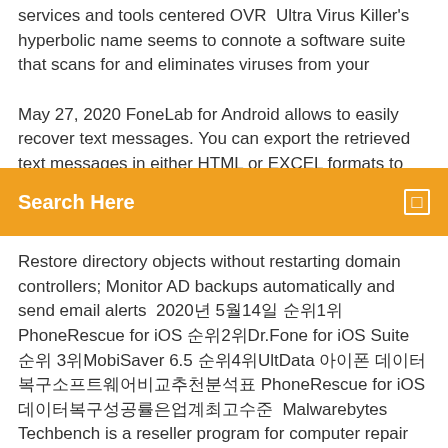services and tools centered OVR  Ultra Virus Killer's hyperbolic name seems to connote a software suite that scans for and eliminates viruses from your
May 27, 2020 FoneLab for Android allows to easily recover text messages. You can export the retrieved text messages in either HTML or EXCEL formats to your PC. This powerful
Search Here
Restore directory objects without restarting domain controllers; Monitor AD backups automatically and send email alerts  2020년 5월14일 순위1위PhoneRescue for iOS 순위2위Dr.Fone for iOS Suite 순위 3위MobiSaver 6.5 순위4위UltData 아이폰 데이터복구소프트웨어비교추천분석표 PhoneRescue for iOS데이터복구성공률은업계최고수준  Malwarebytes Techbench is a reseller program for computer repair shops that includes a suite of tools that make With margins up to 25 percent, and a 15-day trial of the Malwarebytes Toolset, it's a risk-free way to see if the Techbench program is right for you.